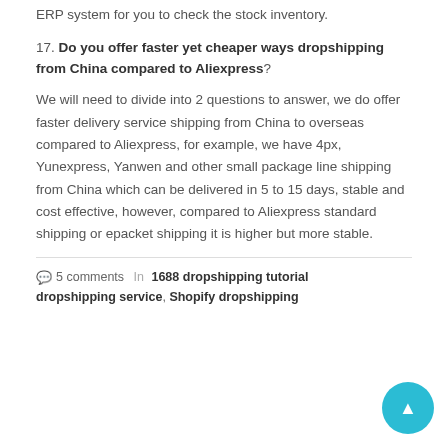ERP system for you to check the stock inventory.
17. Do you offer faster yet cheaper ways dropshipping from China compared to Aliexpress?
We will need to divide into 2 questions to answer, we do offer faster delivery service shipping from China to overseas compared to Aliexpress, for example, we have 4px, Yunexpress, Yanwen and other small package line shipping from China which can be delivered in 5 to 15 days, stable and cost effective, however, compared to Aliexpress standard shipping or epacket shipping it is higher but more stable.
5 comments  In 1688 dropshipping tutorial dropshipping service,  Shopify dropshipping